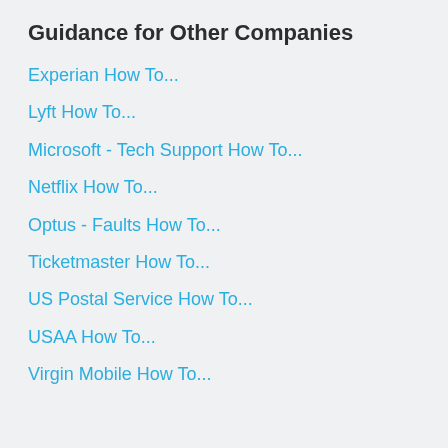Guidance for Other Companies
Experian How To…
Lyft How To…
Microsoft - Tech Support How To…
Netflix How To…
Optus - Faults How To…
Ticketmaster How To…
US Postal Service How To…
USAA How To…
Virgin Mobile How To…